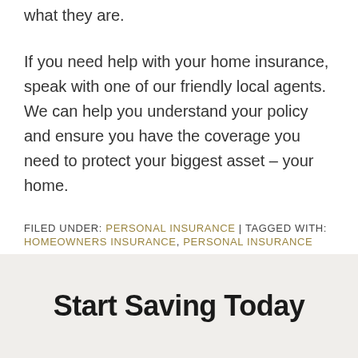what they are.
If you need help with your home insurance, speak with one of our friendly local agents. We can help you understand your policy and ensure you have the coverage you need to protect your biggest asset – your home.
FILED UNDER: PERSONAL INSURANCE | TAGGED WITH: HOMEOWNERS INSURANCE, PERSONAL INSURANCE
Start Saving Today